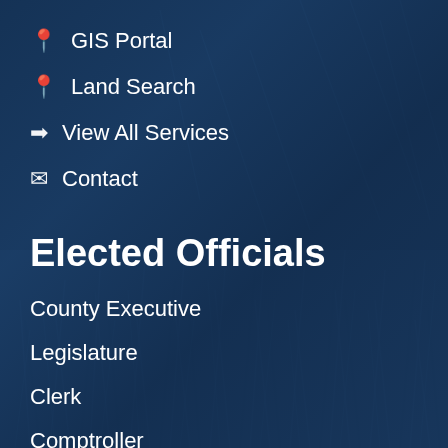📍 GIS Portal
🗺 Land Search
→ View All Services
✉ Contact
Elected Officials
County Executive
Legislature
Clerk
Comptroller
District Attorney
Sheriff